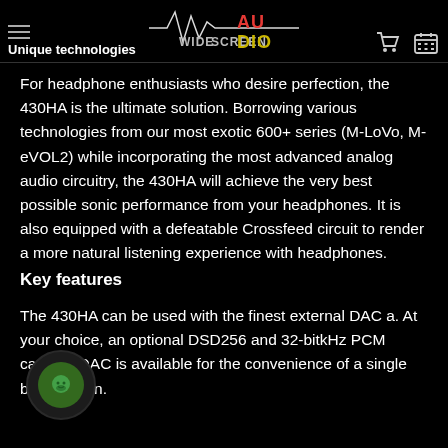Unique technologies — WIDESCREEN AUDIO
For headphone enthusiasts who desire perfection, the 430HA is the ultimate solution. Borrowing various technologies from our most exotic 600+ series (M-LoVo, M-eVOL2) while incorporating the most advanced analog audio circuitry, the 430HA will achieve the very best possible sonic performance from your headphones. It is also equipped with a defeatable Crossfeed circuit to render a more natural listening experience with headphones.
Key features
The 430HA can be used with the finest external DAC a[…]. At your choice, an optional DSD256 and 32-bit […]kHz PCM capable DAC is available for the convenience of a single box solution.